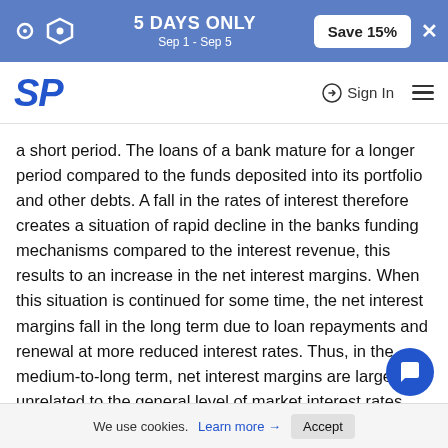5 DAYS ONLY Sep 1 - Sep 5 | Save 15% | SP Sign In
a short period. The loans of a bank mature for a longer period compared to the funds deposited into its portfolio and other debts. A fall in the rates of interest therefore creates a situation of rapid decline in the banks funding mechanisms compared to the interest revenue, this results to an increase in the net interest margins. When this situation is continued for some time, the net interest margins fall in the long term due to loan repayments and renewal at more reduced interest rates. Thus, in the medium-to-long term, net interest margins are largely unrelated to the general level of market interest rates.
Research Design
To obtain the targeted research objectives, the study
We use cookies. Learn more → Accept